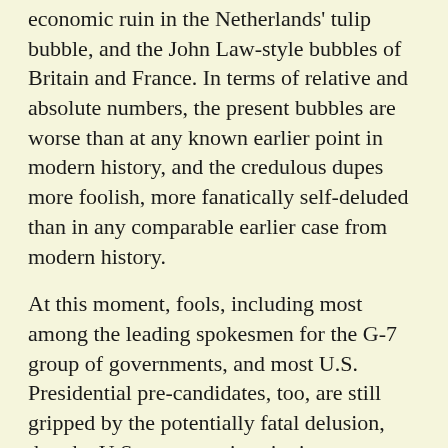economic ruin in the Netherlands' tulip bubble, and the John Law-style bubbles of Britain and France. In terms of relative and absolute numbers, the present bubbles are worse than at any known earlier point in modern history, and the credulous dupes more foolish, more fanatically self-deluded than in any comparable earlier case from modern history.
At this moment, fools, including most among the leading spokesmen for the G-7 group of governments, and most U.S. Presidential pre-candidates, too, are still gripped by the potentially fatal delusion, that the U.S. economy is enjoying boisterous, even virtually unstoppable growth of a form inhering in a post-industrial, post-nation-state utopia.
Globally, from the current press reports, one reads and hears the infantile litany, that the hope for the future of Russia, as of other already looted nations, lies in securing a stateroom in that sinking ship known as today's International Monetary Fund (IMF) system. Yet, if one were the rarer, sane observer of these developments, the raw physical-economic data on so-